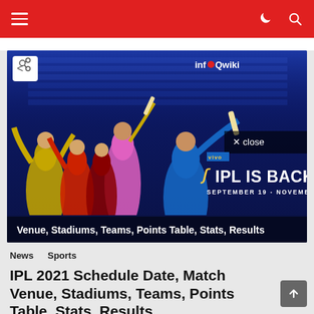Navigation bar with hamburger menu, dark mode toggle, and search icon
[Figure (photo): IPL 2021 promotional banner featuring multiple IPL cricket players in colorful team jerseys against a blue stadium background. Text overlay reads: vivo IPL IS BACK, SEPTEMBER 19 - NOVEMBER 10. Bottom text: Venue, Stadiums, Teams, Points Table, Stats, Results. InfoQwiki watermark in top right. Share button top left. X close button on right side.]
News   Sports
IPL 2021 Schedule Date, Match Venue, Stadiums, Teams, Points Table, Stats, Results